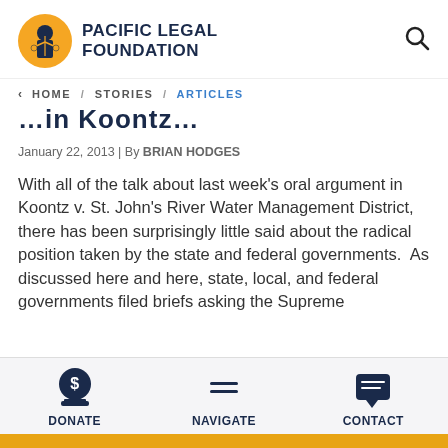PACIFIC LEGAL FOUNDATION
< HOME / STORIES / ARTICLES
…in Koontz…
January 22, 2013 | By BRIAN HODGES
With all of the talk about last week's oral argument in Koontz v. St. John's River Water Management District, there has been surprisingly little said about the radical position taken by the state and federal governments.  As discussed here and here, state, local, and federal governments filed briefs asking the Supreme
DONATE   NAVIGATE   CONTACT